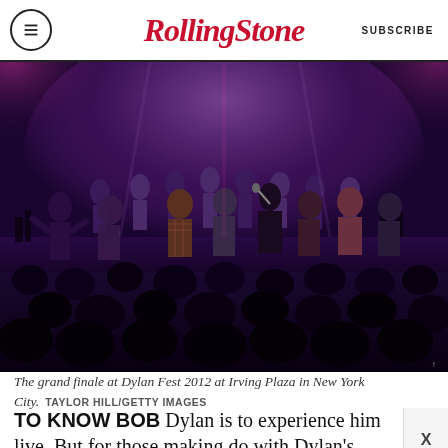Rolling Stone | SUBSCRIBE
[Figure (photo): Concert photo showing the grand finale at Dylan Fest 2012 at Irving Plaza in New York City, with many musicians on stage under purple stage lighting and a large audience in the foreground.]
The grand finale at Dylan Fest 2012 at Irving Plaza in New York City.  TAYLOR HILL/GETTY IMAGES
TO KNOW BOB Dylan is to experience him live. But for those making do with Dylan's sprawling bootlegs as he criss-crosses the globe